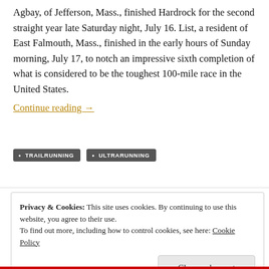Agbay, of Jefferson, Mass., finished Hardrock for the second straight year late Saturday night, July 16. List, a resident of East Falmouth, Mass., finished in the early hours of Sunday morning, July 17, to notch an impressive sixth completion of what is considered to be the toughest 100-mile race in the United States. Continue reading →
• TRAILRUNNING   • ULTRARUNNING
Privacy & Cookies: This site uses cookies. By continuing to use this website, you agree to their use. To find out more, including how to control cookies, see here: Cookie Policy
Close and accept